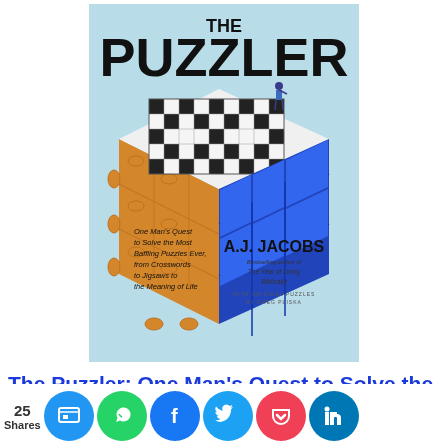[Figure (illustration): Book cover of 'The Puzzler' by A.J. Jacobs. Features a large 3D cube composed of a crossword puzzle grid on top, blue Rubik's cube-style faces on the right, and orange jigsaw puzzle pieces on the left. A small figure stands on top. Text reads: 'One Man's Quest to Solve the Most Baffling Puzzles Ever, from Crosswords to Jigsaws to the Meaning of Life' and 'A.J. JACOBS, Bestselling author of The Year of Living Biblically'.]
The Puzzler: One Man's Quest to Solve the Most Baffling Puzzles Ever, from Crosswords to Jigsaws to the Meaning of Life
[Figure (infographic): Social sharing bar with share count 25 Shares, and buttons for Site, WhatsApp, Facebook, Twitter, Pocket, LinkedIn]